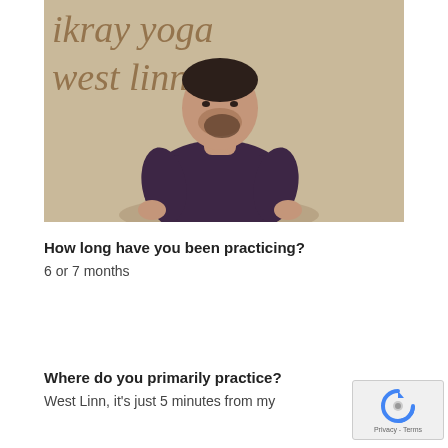[Figure (photo): A man with dark hair and beard wearing a dark purple t-shirt, standing in front of a wall with handwritten text reading 'ikray yoga west linn']
How long have you been practicing?
6 or 7 months
Where do you primarily practice?
West Linn, it's just 5 minutes from my